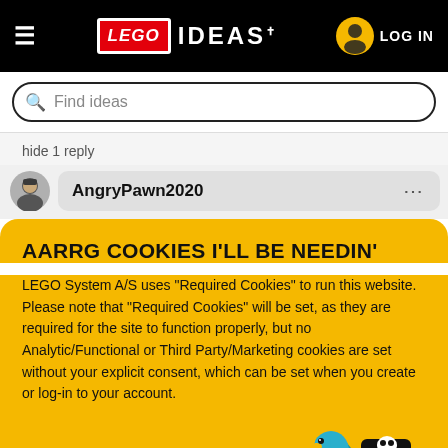LEGO IDEAS — LOG IN
Find ideas
hide 1 reply
AngryPawn2020
AARRG COOKIES I'LL BE NEEDIN'
LEGO System A/S uses "Required Cookies" to run this website. Please note that "Required Cookies" will be set, as they are required for the site to function properly, but no Analytic/Functional or Third Party/Marketing cookies are set without your explicit consent, which can be set when you create or log-in to your account.
OK
[Figure (illustration): LEGO pirate minifigure with skull-and-crossbones hat and blue parrot illustration]